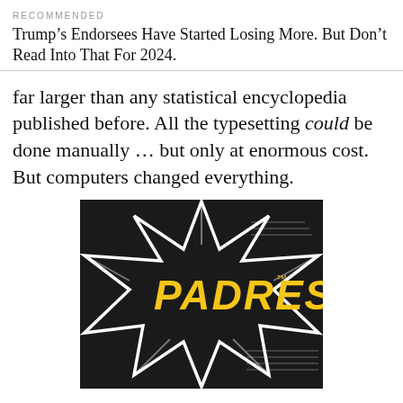RECOMMENDED
Trump's Endorsees Have Started Losing More. But Don't Read Into That For 2024.
far larger than any statistical encyclopedia published before. All the typesetting could be done manually … but only at enormous cost. But computers changed everything.
[Figure (photo): San Diego Padres logo on dark background with star-burst graphic design, yellow italic PADRES text with TM mark]